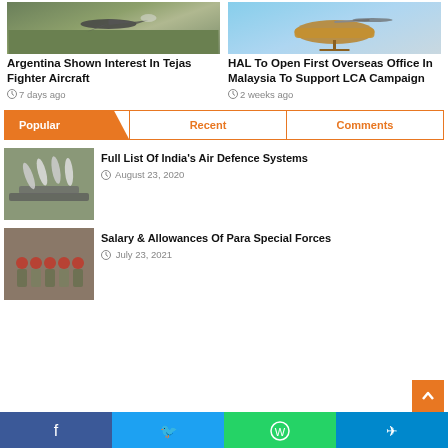[Figure (photo): Aircraft (LCA Tejas fighter) taking off over trees]
Argentina Shown Interest In Tejas Fighter Aircraft
7 days ago
[Figure (photo): Military helicopter in flight against blue sky]
HAL To Open First Overseas Office In Malaysia To Support LCA Campaign
2 weeks ago
Popular | Recent | Comments
[Figure (photo): India air defence missile systems on launcher]
Full List Of India's Air Defence Systems
August 23, 2020
[Figure (photo): Para special forces soldiers in red berets marching]
Salary & Allowances Of Para Special Forces
July 23, 2021